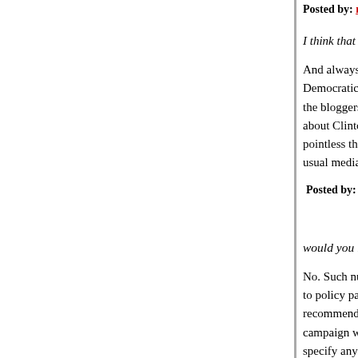Posted by: mlc0j | August 08, 2008 at 10:00 AM
I think that a lot of the current Clinton stuff is med...
And always was. The only difference is that back... Democratic mob was out in force doing the right-v... the bloggers who were part of the anti-Clinton mo... about Clinton, that once they would have taken up... pointless they were, are just intended to hurt the h... usual media-driven anti-Clinton fest that's been g...
Posted by: Jesurgislac | August 08, 2008 at 12:54 PM
would you like to withdraw it now?
No. Such numbers have been reported by multip... to policy papers by Obama's top Iraq adviser Col... recommended a troop strength of 60-80,000 by th... campaign was quick to distance itself from Kahl's... specify any number or timeline - the size of the re... conditions-based" after all. And that is the proble... himself to anything in this regard: it might be 10.0... and things get even more murky when you add to... contractors.